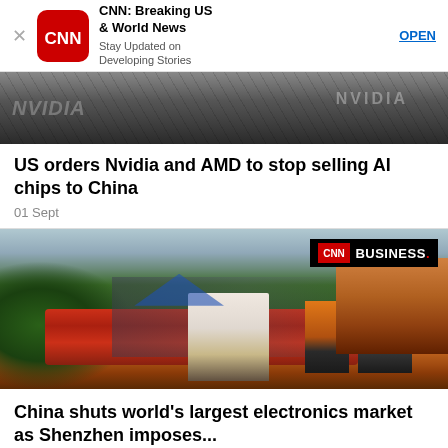[Figure (other): CNN app advertisement banner with close button (X), CNN red rounded square logo, text 'CNN: Breaking US & World News / Stay Updated on Developing Stories', and OPEN link button]
[Figure (photo): Partial photo of Nvidia graphics card chips, dark metallic surface with NVIDIA text visible]
US orders Nvidia and AMD to stop selling AI chips to China
01 Sept
[Figure (photo): CNN Business photo showing street scene in Shenzhen, China with workers in orange uniforms, red barriers, trucks, and crowds of people near an electronics market. CNN BUSINESS badge in top right corner.]
China shuts world's largest electronics market as Shenzhen imposes...